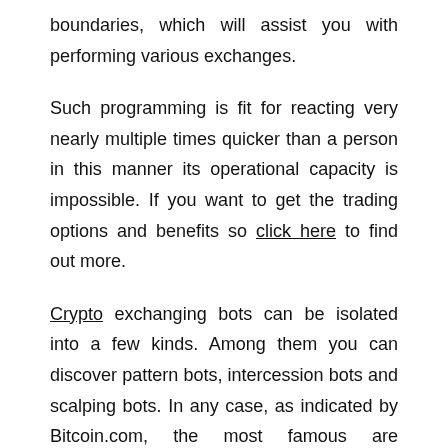boundaries, which will assist you with performing various exchanges.
Such programming is fit for reacting very nearly multiple times quicker than a person in this manner its operational capacity is impossible. If you want to get the trading options and benefits so click here to find out more.
Crypto exchanging bots can be isolated into a few kinds. Among them you can discover pattern bots, intercession bots and scalping bots. In any case, as indicated by Bitcoin.com, the most famous are exchange bots.